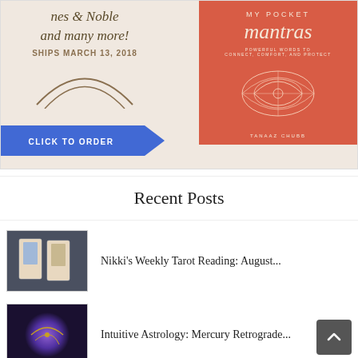[Figure (illustration): Book advertisement banner for 'My Pocket Mantras' by Tanaaz Chubb. Left side shows italic text 'nes & Noble and many more!' with 'SHIPS MARCH 13, 2018' and arc decoration on beige background. Right side shows coral/red book cover with title 'MY POCKET mantras' and subtitle 'Powerful Words to Connect, Comfort, and Protect'. Blue 'CLICK TO ORDER' button with arrow at bottom left.]
Recent Posts
[Figure (photo): Thumbnail photo of two tarot cards laid on a dark surface]
Nikki's Weekly Tarot Reading: August...
[Figure (photo): Thumbnail photo of a glowing blue/purple spherical object with gold lines suggesting astrology or cosmic imagery]
Intuitive Astrology: Mercury Retrograde...